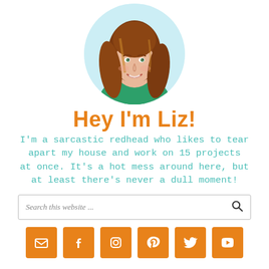[Figure (photo): Circular profile photo of a smiling woman with long auburn/red hair, wearing a green top, on a light blue background.]
Hey I'm Liz!
I'm a sarcastic redhead who likes to tear apart my house and work on 15 projects at once. It's a hot mess around here, but at least there's never a dull moment!
Search this website ...
[Figure (infographic): Row of 6 orange social media icon buttons: email/envelope, Facebook, Instagram, Pinterest, Twitter, YouTube.]